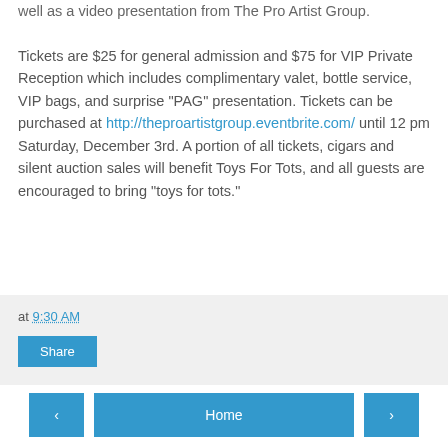well as a video presentation from The Pro Artist Group. Tickets are $25 for general admission and $75 for VIP Private Reception which includes complimentary valet, bottle service, VIP bags, and surprise "PAG" presentation. Tickets can be purchased at http://theproartistgroup.eventbrite.com/ until 12 pm Saturday, December 3rd. A portion of all tickets, cigars and silent auction sales will benefit Toys For Tots, and all guests are encouraged to bring "toys for tots."
at 9:30 AM
Share
Home
View web version